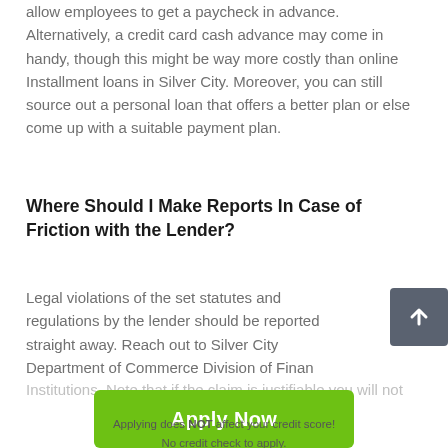allow employees to get a paycheck in advance. Alternatively, a credit card cash advance may come in handy, though this might be way more costly than online Installment loans in Silver City. Moreover, you can still source out a personal loan that offers a better plan or else come up with a suitable payment plan.
Where Should I Make Reports In Case of Friction with the Lender?
Legal violations of the set statutes and regulations by the lender should be reported straight away. Reach out to Silver City Department of Commerce Division of Financial Institutions. Note that if the claim is justifiable you will not
Apply Now
Applying does NOT affect your credit score!
No credit check to apply.